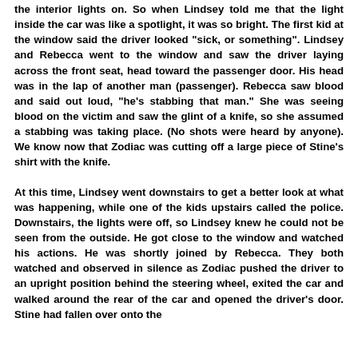the interior lights on. So when Lindsey told me that the light inside the car was like a spotlight, it was so bright. The first kid at the window said the driver looked "sick, or something". Lindsey and Rebecca went to the window and saw the driver laying across the front seat, head toward the passenger door. His head was in the lap of another man (passenger). Rebecca saw blood and said out loud, "he's stabbing that man." She was seeing blood on the victim and saw the glint of a knife, so she assumed a stabbing was taking place. (No shots were heard by anyone). We know now that Zodiac was cutting off a large piece of Stine's shirt with the knife.
At this time, Lindsey went downstairs to get a better look at what was happening, while one of the kids upstairs called the police. Downstairs, the lights were off, so Lindsey knew he could not be seen from the outside. He got close to the window and watched his actions. He was shortly joined by Rebecca. They both watched and observed in silence as Zodiac pushed the driver to an upright position behind the steering wheel, exited the car and walked around the rear of the car and opened the driver's door. Stine had fallen over onto the